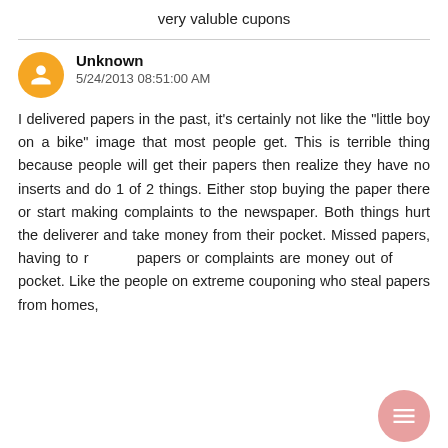very valuble cupons
Unknown
5/24/2013 08:51:00 AM

I delivered papers in the past, it's certainly not like the "little boy on a bike" image that most people get. This is terrible thing because people will get their papers then realize they have no inserts and do 1 of 2 things. Either stop buying the paper there or start making complaints to the newspaper. Both things hurt the deliverer and take money from their pocket. Missed papers, having to redeliver papers or complaints are money out of their pocket. Like the people on extreme couponing who steal papers from homes,